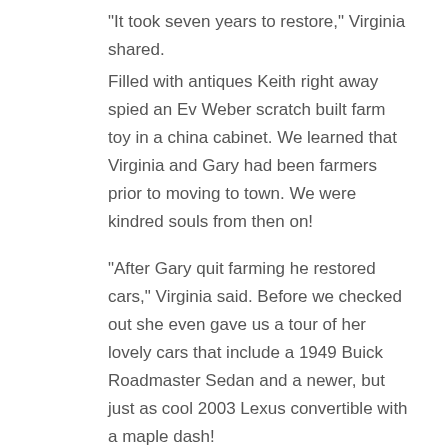“It took seven years to restore,” Virginia shared.
Filled with antiques Keith right away spied an Ev Weber scratch built farm toy in a china cabinet. We learned that Virginia and Gary had been farmers prior to moving to town. We were kindred souls from then on!
“After Gary quit farming he restored cars,” Virginia said. Before we checked out she even gave us a tour of her lovely cars that include a 1949 Buick Roadmaster Sedan and a newer, but just as cool 2003 Lexus convertible with a maple dash!
Besides the word Aloha built into the fireplace in the solarium, there are several unique aspects to the house. The floor in the living room, and dining room are Mexican Tabasco hardwood! The stairway